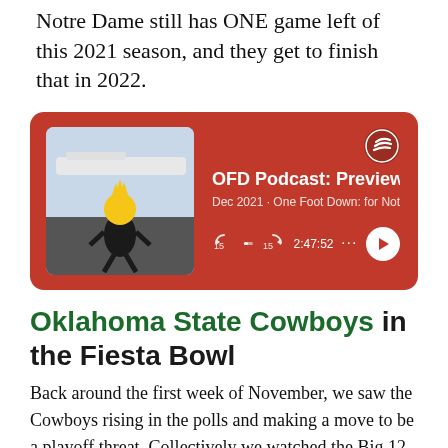Notre Dame still has ONE game left of this 2021 season, and they get to finish that in 2022.
[Figure (screenshot): Spotify podcast embed card with red background showing OFD Podcast: Previewing episode, Dec 2021, One Foot Down: for Notre Dame, duration 2:47:52, with play controls and mascot thumbnail image]
Oklahoma State Cowboys in the Fiesta Bowl
Back around the first week of November, we saw the Cowboys rising in the polls and making a move to be a playoff threat. Collectively we watched the Big 12 championship game and cheered like heel for the Baylor Bears to win to kickstart a day of dominoes for the Irish. While OSU did end up losing to Baylor that